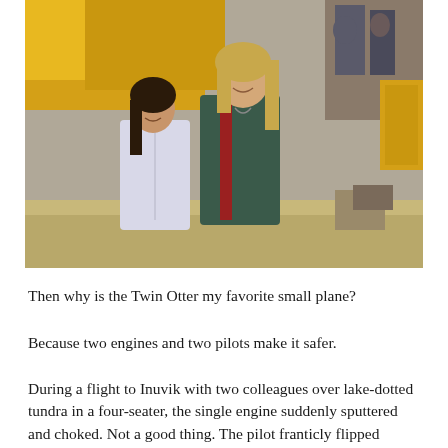[Figure (photo): Two people standing in front of a yellow Twin Otter small plane. On the left is a shorter person with dark braided hair wearing a white jacket. On the right is a taller person with long blonde hair wearing a dark green jacket with red accents. Other people and cargo boxes are visible in the background.]
Then why is the Twin Otter my favorite small plane?
Because two engines and two pilots make it safer.
During a flight to Inuvik with two colleagues over lake-dotted tundra in a four-seater, the single engine suddenly sputtered and choked. Not a good thing. The pilot franticly flipped switches as the rest of us gripped the armrests and grimly contemplated the prospect of a forced landing. The